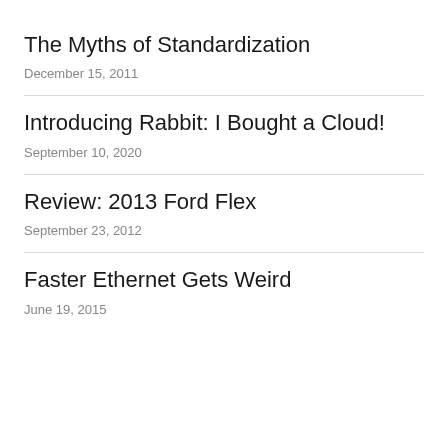The Myths of Standardization
December 15, 2011
Introducing Rabbit: I Bought a Cloud!
September 10, 2020
Review: 2013 Ford Flex
September 23, 2012
Faster Ethernet Gets Weird
June 19, 2015